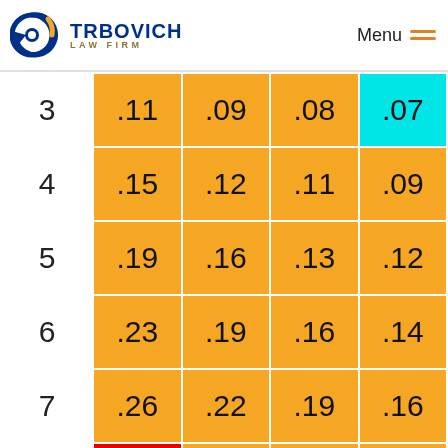Trbovich Law Firm — Menu
|  | col1 | col2 | col3 | col4 |
| --- | --- | --- | --- | --- |
| 3 | .11 | .09 | .08 | .07 |
| 4 | .15 | .12 | .11 | .09 |
| 5 | .19 | .16 | .13 | .12 |
| 6 | .23 | .19 | .16 | .14 |
| 7 | .26 | .22 | .19 | .16 |
|  |  |  |  |  |